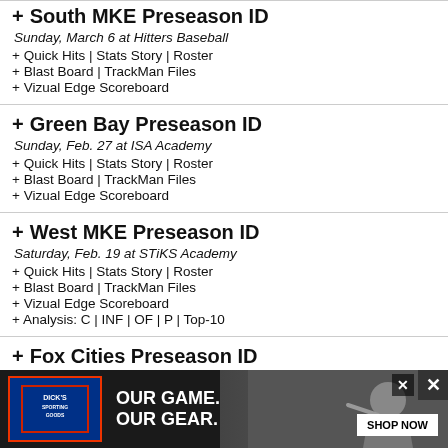+ South MKE Preseason ID
Sunday, March 6 at Hitters Baseball
+ Quick Hits | Stats Story | Roster
+ Blast Board | TrackMan Files
+ Vizual Edge Scoreboard
+ Green Bay Preseason ID
Sunday, Feb. 27 at ISA Academy
+ Quick Hits | Stats Story | Roster
+ Blast Board | TrackMan Files
+ Vizual Edge Scoreboard
+ West MKE Preseason ID
Saturday, Feb. 19 at STiKS Academy
+ Quick Hits | Stats Story | Roster
+ Blast Board | TrackMan Files
+ Vizual Edge Scoreboard
+ Analysis: C | INF | OF | P | Top-10
+ Fox Cities Preseason ID
Saturday, Feb. 12 at Players Choice
+ Quick Hits | Stats Story | Roster
+ Blast Board | TrackMan Files
+ Viz...
+ Pos...
+ Pitc...
[Figure (screenshot): Dick's Sporting Goods advertisement banner: dark background with Dick's logo on left, 'OUR GAME. OUR GEAR.' text in white, baseball player photo on right, 'SHOP NOW' button, and close buttons.]